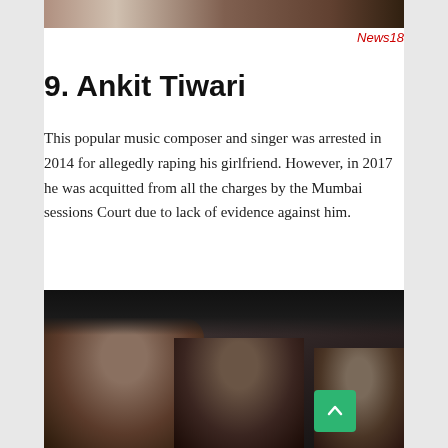[Figure (photo): Top portion of a photo, partially cropped, showing what appears to be a person]
News18
9. Ankit Tiwari
This popular music composer and singer was arrested in 2014 for allegedly raping his girlfriend. However, in 2017 he was acquitted from all the charges by the Mumbai sessions Court due to lack of evidence against him.
[Figure (photo): Photo of people inside a vehicle, appears to be Ankit Tiwari being transported, with two people visible in the foreground inside what looks like a police van or car]